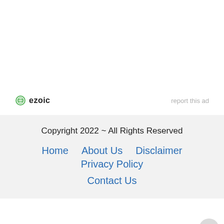[Figure (logo): Ezoic logo with green circle icon and bold 'ezoic' text, with 'report this ad' text to the right]
Copyright 2022 ~ All Rights Reserved
Home   About Us   Disclaimer   Privacy Policy
Contact Us